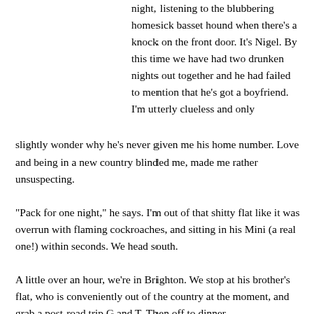night, listening to the blubbering homesick basset hound when there's a knock on the front door. It's Nigel. By this time we have had two drunken nights out together and he had failed to mention that he's got a boyfriend. I'm utterly clueless and only slightly wonder why he's never given me his home number. Love and being in a new country blinded me, made me rather unsuspecting.
“Pack for one night,” he says. I’m out of that shitty flat like it was overrun with flaming cockroaches, and sitting in his Mini (a real one!) within seconds. We head south.
A little over an hour, we’re in Brighton. We stop at his brother’s flat, who is conveniently out of the country at the moment, and grab a post-road trip G and T. Then off to dinner.
It was my first French restaurant. Nigel bravely took up my dare of eating Steak Tartar while he ordered the Crab Salad for myself. He knew that it came in the hollowed out carapice of a King Crab, legs draped over the plate, face turned towards me as if to say “I ‘ope yew findz me, ‘ow do you zey… delishious? Mai oui!” When the salad arrived we both discovered that I had a fear of King Crab – insectoid